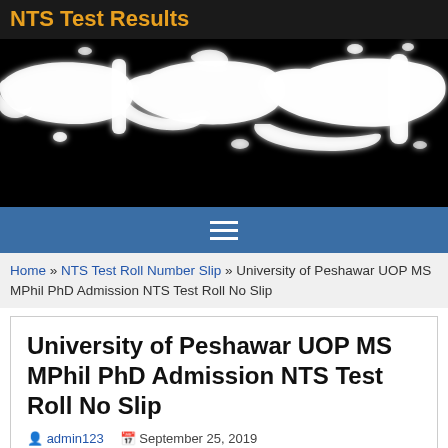NTS Test Results
[Figure (illustration): Black background with white Arabic calligraphy (Bismillah ir-Rahman ir-Rahim)]
[Figure (other): Navigation bar with hamburger menu icon (three white horizontal lines) on blue background]
Home » NTS Test Roll Number Slip » University of Peshawar UOP MS MPhil PhD Admission NTS Test Roll No Slip
University of Peshawar UOP MS MPhil PhD Admission NTS Test Roll No Slip
admin123  September 25, 2019
NTS Test Roll Number Slip  Comments